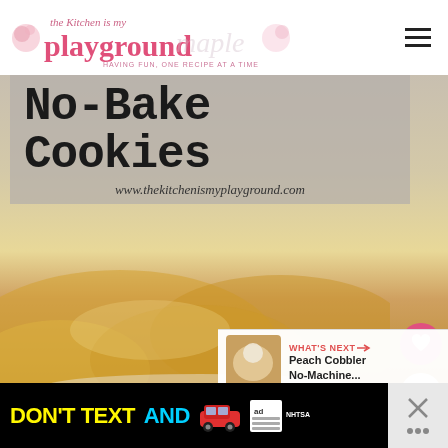the Kitchen is my playground — HAVING FUN, ONE RECIPE AT A TIME
[Figure (photo): No-Bake Cookies recipe image with text overlay showing 'No-Bake Cookies' in typewriter font and URL www.thekitchenismyplayground.com, with blurred golden cookies in the background]
WHAT'S NEXT → Peach Cobbler No-Machine...
[Figure (infographic): DON'T TEXT AND [car icon] advertisement banner with ad badge and NHTSA logo]